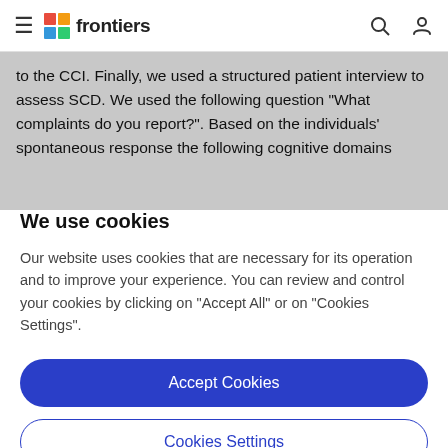frontiers
to the CCI. Finally, we used a structured patient interview to assess SCD. We used the following question "What complaints do you report?". Based on the individuals' spontaneous response the following cognitive domains
We use cookies
Our website uses cookies that are necessary for its operation and to improve your experience. You can review and control your cookies by clicking on "Accept All" or on "Cookies Settings".
Accept Cookies
Cookies Settings